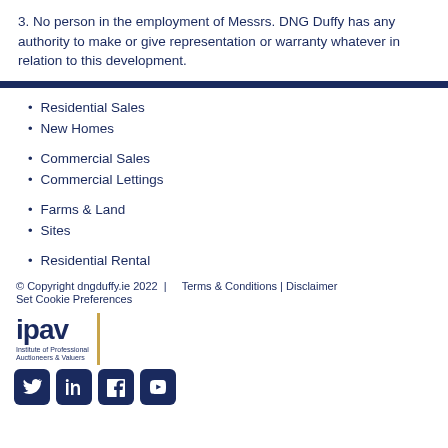3. No person in the employment of Messrs. DNG Duffy has any authority to make or give representation or warranty whatever in relation to this development.
Residential Sales
New Homes
Commercial Sales
Commercial Lettings
Farms & Land
Sites
Residential Rental
© Copyright dngduffy.ie 2022  |     Terms & Conditions | Disclaimer
Set Cookie Preferences
[Figure (logo): IPAV - Institute of Professional Auctioneers & Valuers logo with gold vertical bar]
[Figure (other): Social media icons: Twitter, LinkedIn, Facebook, YouTube]